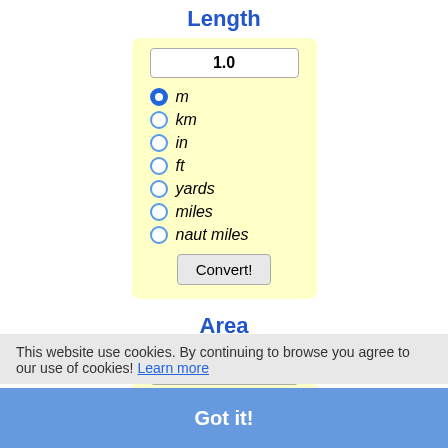Length
[Figure (screenshot): Unit converter UI for Length with input field showing 1.0, radio buttons for m (selected), km, in, ft, yards, miles, naut miles, and a Convert! button on yellow background]
Area
[Figure (screenshot): Unit converter UI for Area with input field showing 1.0 and partial radio buttons for m2, km2, in2, ft2 visible]
This website use cookies. By continuing to browse you agree to our use of cookies! Learn more
Got it!